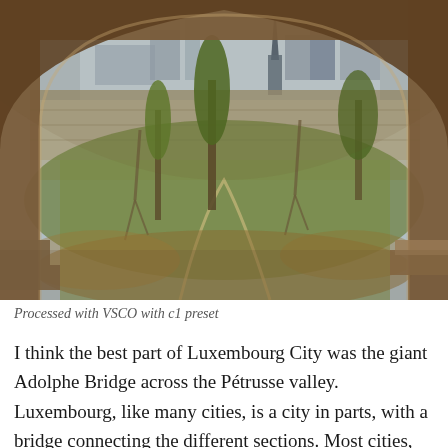[Figure (photo): View through a stone arch looking out over the Pétrusse valley in Luxembourg City, with tall trees, terraced fortification walls, green parks, and the silhouette of a cathedral spire and city buildings visible in the background under an overcast sky.]
Processed with VSCO with c1 preset
I think the best part of Luxembourg City was the giant Adolphe Bridge across the Pétrusse valley. Luxembourg, like many cities, is a city in parts, with a bridge connecting the different sections. Most cities, like Bordeaux or Bri...